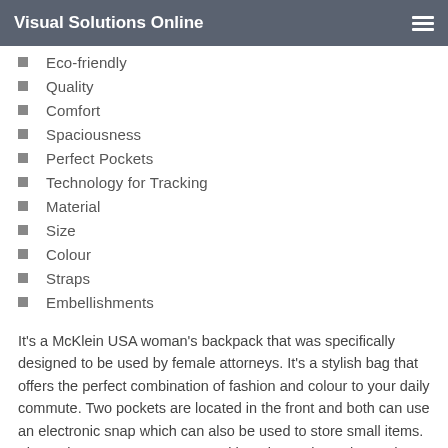Visual Solutions Online
Eco-friendly
Quality
Comfort
Spaciousness
Perfect Pockets
Technology for Tracking
Material
Size
Colour
Straps
Embellishments
It’s a McKlein USA woman’s backpack that was specifically designed to be used by female attorneys. It’s a stylish bag that offers the perfect combination of fashion and colour to your daily commute. Two pockets are located in the front and both can use an electronic snap which can also be used to store small items. The main compartment comes with an inner zip pocket and organizer inside that could be